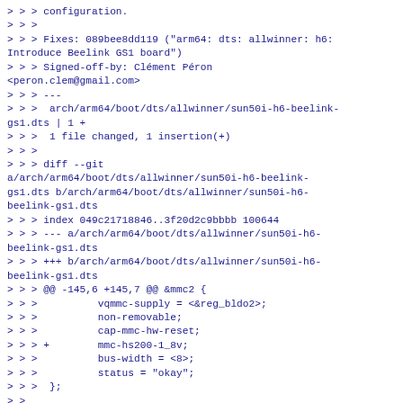> > > configuration.
> > >
> > > Fixes: 089bee8dd119 ("arm64: dts: allwinner: h6: Introduce Beelink GS1 board")
> > > Signed-off-by: Clément Péron <peron.clem@gmail.com>
> > > ---
> > >  arch/arm64/boot/dts/allwinner/sun50i-h6-beelink-gs1.dts | 1 +
> > >  1 file changed, 1 insertion(+)
> > >
> > > diff --git a/arch/arm64/boot/dts/allwinner/sun50i-h6-beelink-gs1.dts b/arch/arm64/boot/dts/allwinner/sun50i-h6-beelink-gs1.dts
> > > index 049c21718846..3f20d2c9bbbb 100644
> > > --- a/arch/arm64/boot/dts/allwinner/sun50i-h6-beelink-gs1.dts
> > > +++ b/arch/arm64/boot/dts/allwinner/sun50i-h6-beelink-gs1.dts
> > > @@ -145,6 +145,7 @@ &mmc2 {
> > >          vqmmc-supply = <&reg_bldo2>;
> > >          non-removable;
> > >          cap-mmc-hw-reset;
> > > +        mmc-hs200-1_8v;
> > >          bus-width = <8>;
> > >          status = "okay";
> > >  };
> >
> > I'm not really sure what you're trying to fix here,